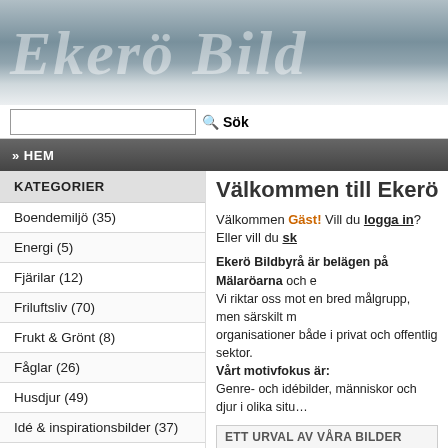[Figure (photo): Website header banner with italic cursive logo text 'Ekerö Bild' on a grey-blue water/sky background]
Sök
» HEM
KATEGORIER
Boendemiljö (35)
Energi (5)
Fjärilar (12)
Friluftsliv (70)
Frukt & Grönt (8)
Fåglar (26)
Husdjur (49)
Idé & inspirationsbilder (37)
Insekter & småkryp (25)
Kommunikationer (25)
Kyrkor (19)
Välkommen till Ekerö Bild
Välkommen Gäst! Vill du logga in? Eller vill du sk…
Ekerö Bildbyrå är belägen på Mälaröarna och en Vi riktar oss mot en bred målgrupp, men särskilt m… organisationer både i privat och offentlig sektor. Vårt motivfokus är: Genre- och idébilder, människor och djur i olika situ…
ETT URVAL AV VÅRA BILDER
[Figure (photo): Small thumbnail image showing landscape/water scene]